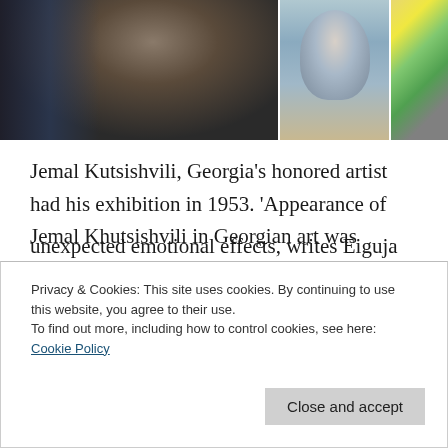[Figure (photo): Photo strip at top: left side shows a man in dark jacket, right side shows a portrait painting of a woman and artwork/canvases in background]
Jemal Kutsishvili, Georgia’s honored artist had his exhibition in 1953. ‘Appearance of Jemal Khutsishvili in Georgian art was unexpected. Then, one fine day, the works of an unknown painter were exhibited in the State Art Gallery and at once became the subject of serious discussion. His truthful art attracted not only the ordinary audience, but also the professional painters by its striking paradox: poetical compositions,
Privacy & Cookies: This site uses cookies. By continuing to use this website, you agree to their use.
To find out more, including how to control cookies, see here: Cookie Policy
Close and accept
unexpected emotional effects, writes Eiguja